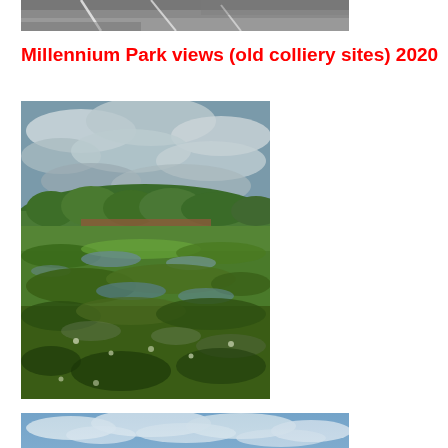[Figure (photo): Partial view of a road/pavement with grey tarmac surface and white road markings, cropped at top of page]
Millennium Park views (old colliery sites)  2020
[Figure (photo): HDR photograph of a pond or lake covered with green algae and water plants, with lush green trees and hillside in background under dramatic cloudy sky, taken at Millennium Park]
[Figure (photo): Panoramic view of blue sky with white clouds, partial view at bottom of page]